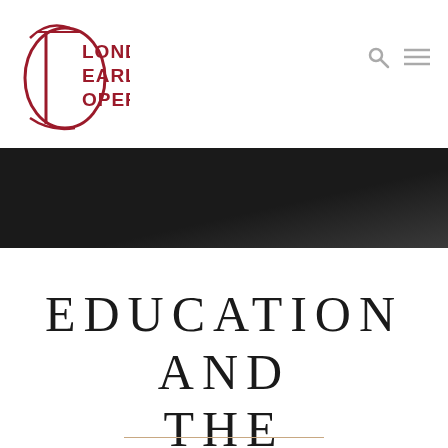[Figure (logo): London Early Opera logo with decorative red D initial and text LONDON EARLY OPERA in dark red]
[Figure (photo): Dark/black banner image area, likely a performance or stage photo]
EDUCATION AND THE HANDELIANS